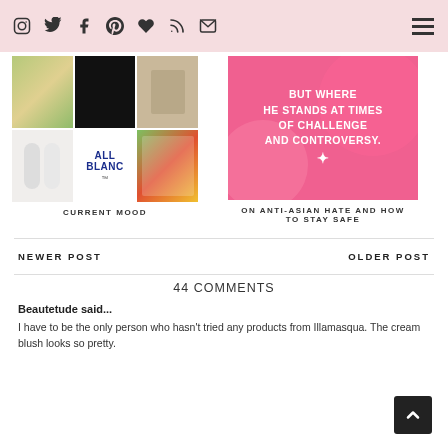Navigation bar with social icons (Instagram, Twitter, Facebook, Pinterest, Bloglovin, RSS, Email) and hamburger menu
[Figure (photo): 3x2 image grid showing food bowl, black rectangle, tan product, skincare bottles, ALL BLANC logo, and colorful organizer/tea bags]
CURRENT MOOD
[Figure (photo): Pink banner with white bold text: BUT WHERE HE STANDS AT TIMES OF CHALLENGE AND CONTROVERSY.]
ON ANTI-ASIAN HATE AND HOW TO STAY SAFE
NEWER POST
OLDER POST
44 COMMENTS
Beautetude said...
I have to be the only person who hasn't tried any products from Illamasqua. The cream blush looks so pretty.